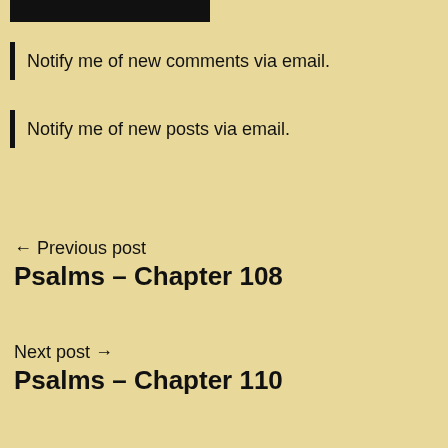[Figure (other): Black rectangular bar at top of page]
Notify me of new comments via email.
Notify me of new posts via email.
← Previous post
Psalms – Chapter 108
Next post →
Psalms – Chapter 110